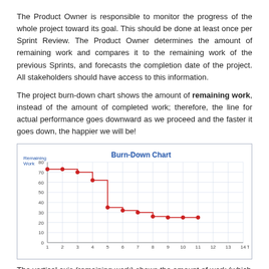The Product Owner is responsible to monitor the progress of the whole project toward its goal. This should be done at least once per Sprint Review. The Product Owner determines the amount of remaining work and compares it to the remaining work of the previous Sprints, and forecasts the completion date of the project. All stakeholders should have access to this information.
The project burn-down chart shows the amount of remaining work, instead of the amount of completed work; therefore, the line for actual performance goes downward as we proceed and the faster it goes down, the happier we will be!
[Figure (line-chart): Burn-Down Chart]
The vertical axis (remaining work) shows the amount of work (which